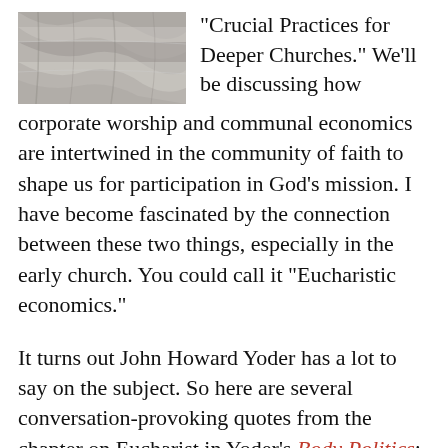[Figure (photo): Black and white close-up photo of fabric or textile, occupying the upper left of the page.]
“Crucial Practices for Deeper Churches.” We’ll be discussing how corporate worship and communal economics are intertwined in the community of faith to shape us for participation in God’s mission. I have become fascinated by the connection between these two things, especially in the early church. You could call it “Eucharistic economics.”
It turns out John Howard Yoder has a lot to say on the subject. So here are several conversation-provoking quotes from the chapter on Eucharist in Yoder’s Body Politics: